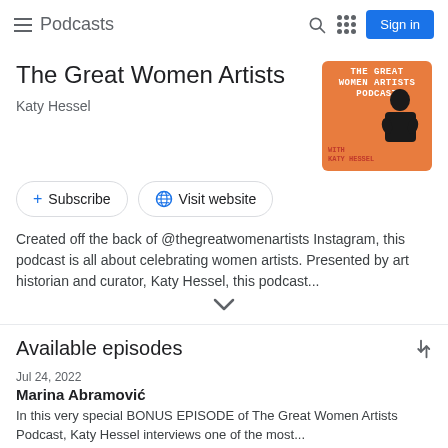≡ Podcasts
The Great Women Artists
Katy Hessel
[Figure (illustration): Podcast cover art for 'The Great Women Artists Podcast with Katy Hessel' — orange background with text and a black-and-white photo of Katy Hessel]
+ Subscribe   🌐 Visit website
Created off the back of @thegreatwomenartists Instagram, this podcast is all about celebrating women artists. Presented by art historian and curator, Katy Hessel, this podcast...
Available episodes
Jul 24, 2022
Marina Abramović
In this very special BONUS EPISODE of The Great Women Artists Podcast, Katy Hessel interviews one of the most...